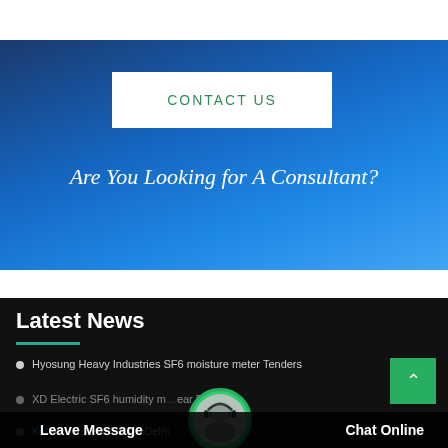[Figure (screenshot): Blue gradient banner background with 'CONTACT US' button in white box and headline text]
CONTACT US
Are You Looking for A Consultant?
Latest News
Hyosung Heavy Industries SF6 moisture meter Tenders
XD Electric SF6 humidity ... ear Power
KMT SF6 semi 121 on Delhi
Leave Message
Chat Online